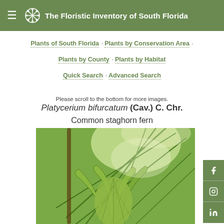The Floristic Inventory of South Florida
Plants of South Florida · Plants by Conservation Area · Plants by County · Plants by Habitat · Quick Search · Advanced Search
Please scroll to the bottom for more images.
Platycerium bifurcatum (Cav.) C. Chr. Common staghorn fern
[Figure (photo): Close-up photograph of Platycerium bifurcatum (common staghorn fern) showing large green antler-shaped fronds with visible vein texture against bright green background foliage.]